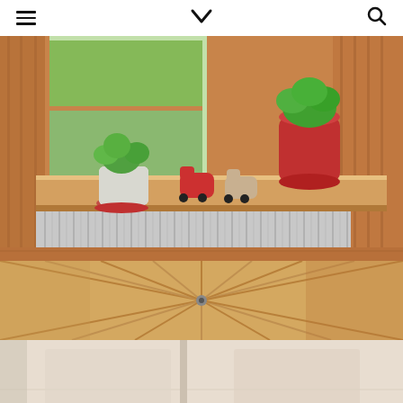Navigation header with menu icon, chevron/logo, and search icon
[Figure (photo): Interior of a wooden cabin-style room with a natural wood countertop/shelf along a window. On the shelf sit a white ceramic pot with green plants on a red saucer, two red decorative horse figurines on wheels, and a large red ceramic vase/pot with green plants. The walls are light pine wood paneling, floor is warm wood. A white corrugated metal panel is beneath the shelf. White electrical cord visible on right side.]
[Figure (photo): Close-up of wooden ceiling/wall paneling with radiating light pine wood slats, visible nail or hook hardware in center.]
[Figure (photo): Bottom partial view of what appears to be a light beige/cream tiled or smooth surface interior space with vertical architectural elements.]